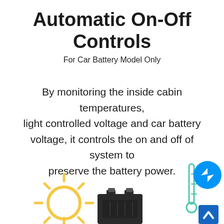Automatic On-Off Controls
For Car Battery Model Only
By monitoring the inside cabin temperatures, light controlled voltage and car battery voltage, it controls the on and off of system to preserve the battery power.
[Figure (illustration): Illustration showing a sun icon (yellow), a car battery component (black), and a thermometer with messenger/chat icon overlay (blue circle with messenger logo and blue square with upward chevron), representing automatic on-off control sensors.]